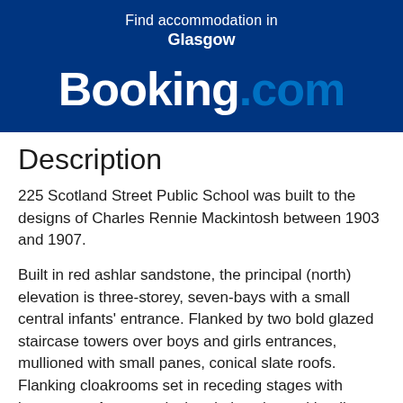[Figure (logo): Booking.com logo with 'Find accommodation in Glasgow' text above on dark blue background]
Description
225 Scotland Street Public School was built to the designs of Charles Rennie Mackintosh between 1903 and 1907.
Built in red ashlar sandstone, the principal (north) elevation is three-storey, seven-bays with a small central infants' entrance. Flanked by two bold glazed staircase towers over boys and girls entrances, mullioned with small panes, conical slate roofs. Flanking cloakrooms set in receding stages with buttresses. Asymmetrical end elevations with tall chimneystacks. Arch to